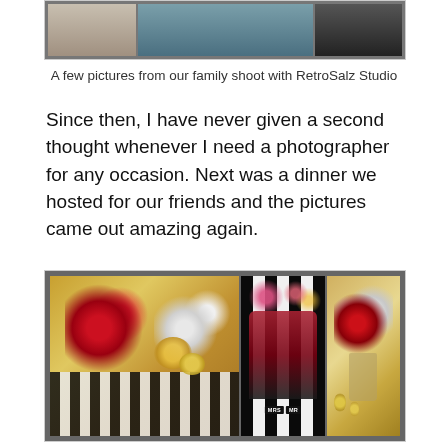[Figure (photo): Three family shoot photos arranged in a row — left shows feet/sandals, center shows a couple on a studio floor, right is a black and white portrait]
A few pictures from our family shoot with RetroSalz Studio
Since then, I have never given a second thought whenever I need a photographer for any occasion. Next was a dinner we hosted for our friends and the pictures came out amazing again.
[Figure (photo): Three dinner party photos — left shows floral arrangement with candles on a striped tablecloth, center shows a couple posing with MRS and MR signs in front of a black and white striped backdrop, right shows a flower vase with candles on a table]